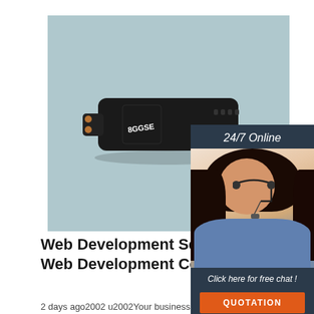[Figure (photo): Black electronic device (spy camera/recorder) on a light blue-grey background, with a '24/7 Online' customer service chat widget overlay showing a woman with headset]
Web Development Services - Web Development Company
2 days ago2002 u2002Your business website